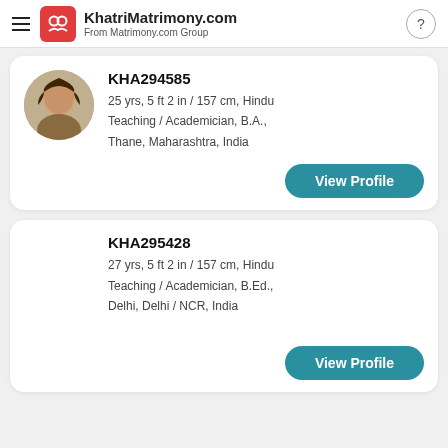KhatriMatrimony.com From Matrimony.com Group
KHA294585
25 yrs, 5 ft 2 in / 157 cm, Hindu
Teaching / Academician, B.A.,
Thane, Maharashtra, India
View Profile
KHA295428
27 yrs, 5 ft 2 in / 157 cm, Hindu
Teaching / Academician, B.Ed.,
Delhi, Delhi / NCR, India
View Profile